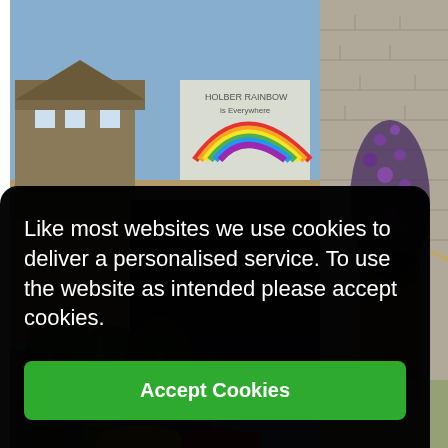[Figure (photo): A photo showing a person holding a rainbow drawing up to a window, with a residential street and blue sky visible through the glass on the left side, and a stone brick wall with purple flowers on the right side. At the bottom, colorful shoes are partially visible.]
Like most websites we use cookies to deliver a personalised service. To use the website as intended please accept cookies.